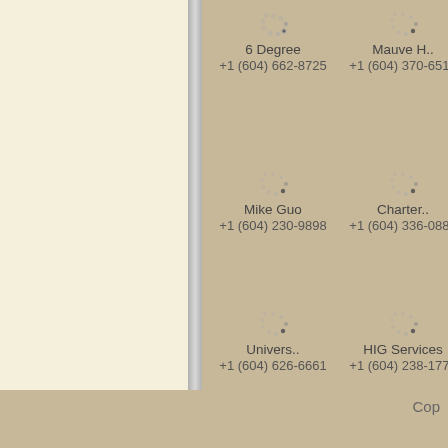[Figure (other): Loading spinner icon - circular dotted spinner]
6 Degree
+1 (604) 662-8725
[Figure (other): Loading spinner icon - circular dotted spinner]
Mauve H..
+1 (604) 370-6519
[Figure (other): Loading spinner icon - circular dotted spinner]
Mike Guo
+1 (604) 230-9898
[Figure (other): Loading spinner icon - circular dotted spinner]
Charter..
+1 (604) 336-0888
[Figure (other): Loading spinner icon - circular dotted spinner]
Univers..
+1 (604) 626-6661
[Figure (other): Loading spinner icon - circular dotted spinner]
HIG Services
+1 (604) 238-1777
[Figure (other): Loading spinner icon - circular dotted spinner]
Ruby Fan
+1 (604) 618-2184
[Figure (other): Loading spinner icon - circular dotted spinner]
Instrum..
+1 (604) 722-2925
Cop